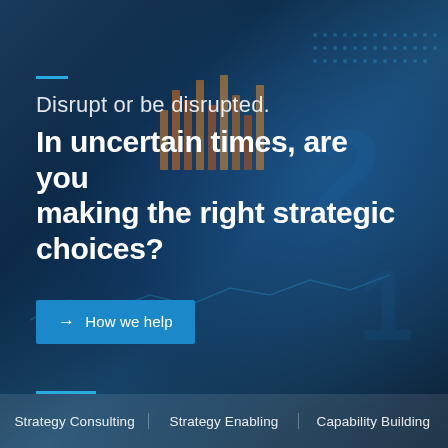[Figure (photo): Financial data display board with stock market chart bars and illuminated dot-matrix numbers, dark blue toned background]
Disrupt or be disrupted. In uncertain times, are you making the right strategic choices?
→ How we help
Strategy Consulting   Strategy Enabling   Capability Building